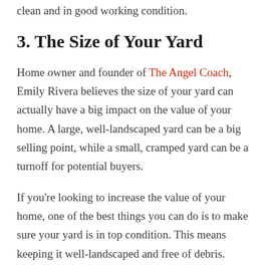clean and in good working condition.
3. The Size of Your Yard
Home owner and founder of The Angel Coach, Emily Rivera believes the size of your yard can actually have a big impact on the value of your home. A large, well-landscaped yard can be a big selling point, while a small, cramped yard can be a turnoff for potential buyers.
If you're looking to increase the value of your home, one of the best things you can do is to make sure your yard is in top condition. This means keeping it well-landscaped and free of debris.